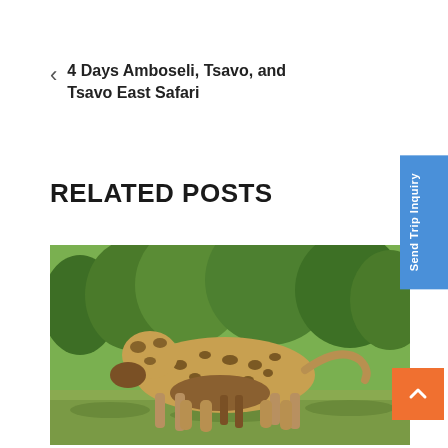< 4 Days Amboseli, Tsavo, and Tsavo East Safari
RELATED POSTS
[Figure (photo): A leopard carrying prey (an antelope/impala) in its mouth while walking through lush green bushland/savanna vegetation.]
Send Trip Inquiry
^